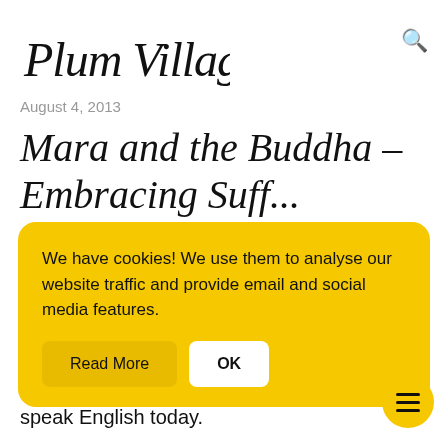[Figure (logo): Plum Village handwritten script logo]
August 4, 2013
Mara and the Buddha –
Embracing Suffering
We have cookies! We use them to analyse our website traffic and provide email and social media features.
Read More   OK
are in the Upper Hamlet. We are going to speak English today.